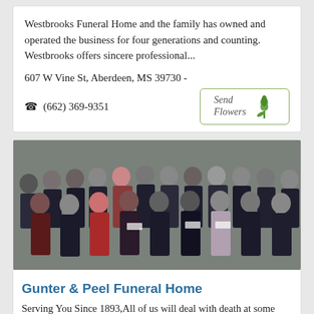Westbrooks Funeral Home and the family has owned and operated the business for four generations and counting. Westbrooks offers sincere professional...
607 W Vine St, Aberdeen, MS 39730 -
☎ (662) 369-9351
[Figure (other): Send Flowers button with tulip icon]
[Figure (photo): Group photo of funeral home staff members in formal attire standing in front of a brick building]
Gunter & Peel Funeral Home
Serving You Since 1893,All of us will deal with death at some point in our lives; we all know death is part of